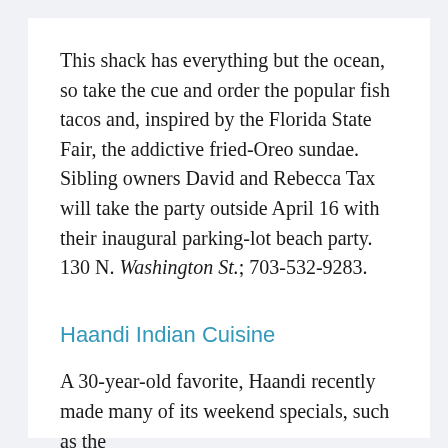This shack has everything but the ocean, so take the cue and order the popular fish tacos and, inspired by the Florida State Fair, the addictive fried-Oreo sundae. Sibling owners David and Rebecca Tax will take the party outside April 16 with their inaugural parking-lot beach party. 130 N. Washington St.; 703-532-9283.
Haandi Indian Cuisine
A 30-year-old favorite, Haandi recently made many of its weekend specials, such as the